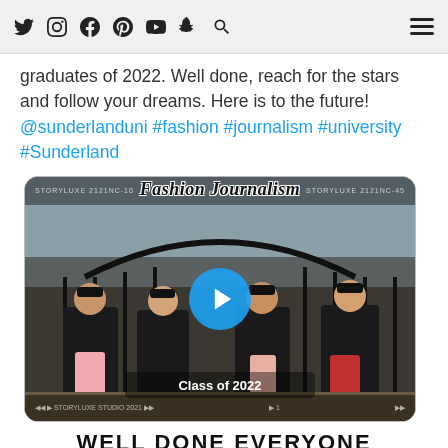Navigation icons: Twitter, Instagram, Facebook, Pinterest, YouTube, Snapchat, Search, Menu
graduates of 2022. Well done, reach for the stars and follow your dreams. Here is to the future! @sunderlanduni #fashion #journalism #university #Sunderland
[Figure (photo): A social media video post showing four graduates in black graduation gowns and caps posing in front of an iron gate with a 'Class of 2022' overlay and 'Fashion Journalism' script title at the top. A large blue play button is visible in the center.]
Well done everyone